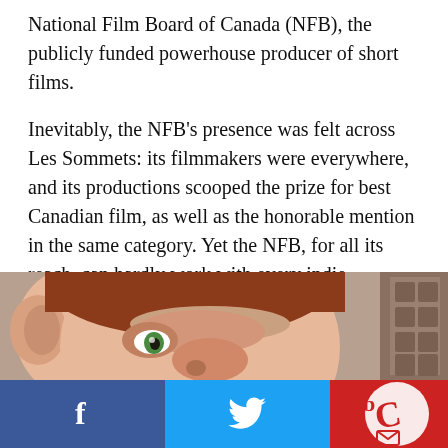National Film Board of Canada (NFB), the publicly funded powerhouse producer of short films.
Inevitably, the NFB's presence was felt across Les Sommets: its filmmakers were everywhere, and its productions scooped the prize for best Canadian film, as well as the honorable mention in the same category. Yet the NFB, for all its reach, can hardly work with every indie animator in Montreal — especially at a time of upheaval within the organization. (Cartoon Brew will publish a multi-part interview with the NFB's producers next week.)
[Figure (photo): Close-up still from an animated film showing a stylized 3D character face — a male figure with reddish-brown hair, exaggerated features, wide nose, and green eyes, viewed from a low angle.]
[Figure (logo): Social sharing bar with Facebook (blue, 'f' icon), Twitter (light blue, bird icon), and a circular logo on red background.]